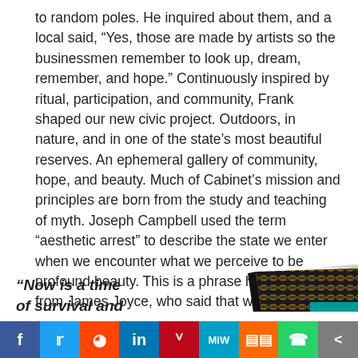to random poles. He inquired about them, and a local said, “Yes, those are made by artists so the businessmen remember to look up, dream, remember, and hope.” Continuously inspired by ritual, participation, and community, Frank shaped our new civic project. Outdoors, in nature, and in one of the state’s most beautiful reserves. An ephemeral gallery of community, hope, and beauty. Much of Cabinet’s mission and principles are born from the study and teaching of myth. Joseph Campbell used the term “aesthetic arrest” to describe the state we enter when we encounter what we perceive to be profound beauty. This is a phrase he borrowed from James Joyce, who said that when confronted with beauty, “the mind is arrested and raised above desire and loathing.” This continues to be a goal with our current projects.
“Now is a time of survival and sustenance,
[Figure (photo): Partial view of a dark book with decorative pattern cover, partially open, shown at bottom right of page]
Social sharing bar with icons: Facebook, Twitter, Reddit, LinkedIn, Pinterest, MeWe, Mix, WhatsApp, Share